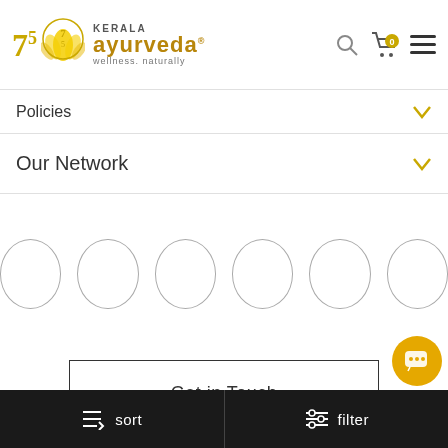[Figure (logo): Kerala Ayurveda logo with 75th anniversary emblem, lotus flower, and text 'wellness. naturally']
Policies
Our Network
[Figure (illustration): Six empty circles arranged in a row representing social media or network icons]
Get in Touch
sort   filter